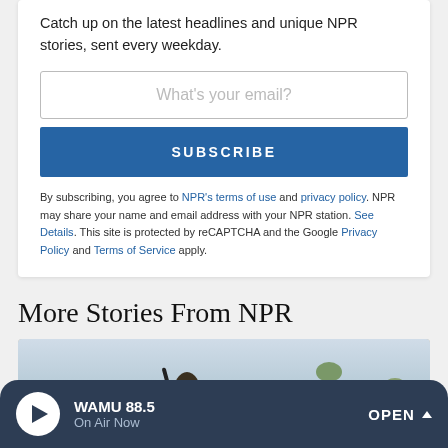Catch up on the latest headlines and unique NPR stories, sent every weekday.
[Figure (screenshot): Email input field with placeholder 'What's your email?']
[Figure (screenshot): Blue SUBSCRIBE button]
By subscribing, you agree to NPR's terms of use and privacy policy. NPR may share your name and email address with your NPR station. See Details. This site is protected by reCAPTCHA and the Google Privacy Policy and Terms of Service apply.
More Stories From NPR
[Figure (photo): Outdoor scene with figure, backpack, trees and water in the background]
WAMU 88.5 On Air Now OPEN